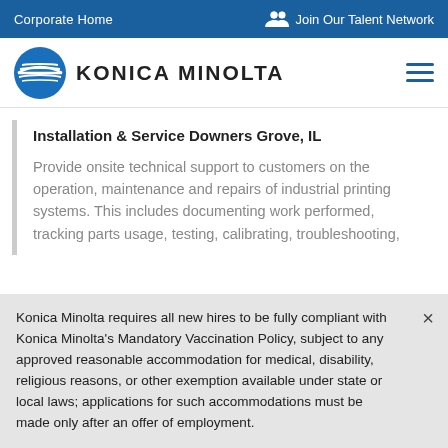Corporate Home    Join Our Talent Network
[Figure (logo): Konica Minolta logo with blue circular globe icon and company name in bold uppercase text]
Installation & Service Downers Grove, IL
Provide onsite technical support to customers on the operation, maintenance and repairs of industrial printing systems. This includes documenting work performed, tracking parts usage, testing, calibrating, troubleshooting,
Konica Minolta requires all new hires to be fully compliant with Konica Minolta's Mandatory Vaccination Policy, subject to any approved reasonable accommodation for medical, disability, religious reasons, or other exemption available under state or local laws; applications for such accommodations must be made only after an offer of employment.